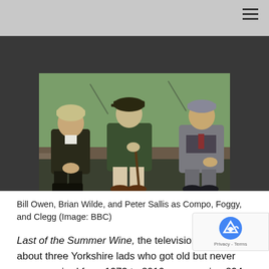[Figure (photo): Three elderly men sitting on a stone wall in a Yorkshire countryside setting. Left man wears a knit beanie and dark jacket with black Wellington boots. Center man wears a flat cap and green jacket, holding a walking stick, with light trousers. Right man wears a grey overcoat and suit. Green fields, dry-stone walls, and trees visible in the background.]
Bill Owen, Brian Wilde, and Peter Sallis as Compo, Foggy, and Clegg (Image: BBC)
Last of the Summer Wine, the television series about three Yorkshire lads who got old but never grew up aired from 1973 to 2010, an amazing 294 episodes, making it the longest-running scripted sitcom in Britain and the world. That's